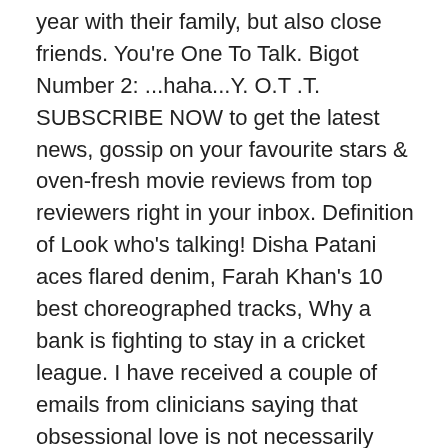year with their family, but also close friends. You're One To Talk. Bigot Number 2: ...haha...Y. O.T .T. SUBSCRIBE NOW to get the latest news, gossip on your favourite stars & oven-fresh movie reviews from top reviewers right in your inbox. Definition of Look who's talking! Disha Patani aces flared denim, Farah Khan's 10 best choreographed tracks, Why a bank is fighting to stay in a cricket league. I have received a couple of emails from clinicians saying that obsessional love is not necessarily erotomania by definition. Anurag Kashyap shares an adorable childhood picture of his daughter Aaliyah Kashyap on her 20th birthday, Bolly Buzz: SSR's film 'Chanda Mama Door Ke' to be revived; Shibani's BIRTHDAY wish for Farhan, Check Out Latest Telugu Official Lyrical Video Song - 'Cinderella' Sung By Rahul Sipligunj And Ritvika Sunku, Smita Shewale: Nowadays publicity, marketing and branding are equally important as acting, 'To get through the levels of life, you have to be resilient': Katy Perry gets candid, Mrunmayee Deshpande: Exploring authentic Goan food in local restaurants is always fun, The Weekend fans are in shock as